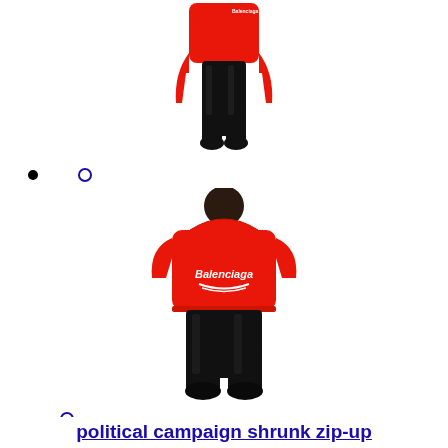[Figure (photo): Back view of a person wearing a red Balenciaga cropped hoodie and black shiny leggings, seen from behind, upper portion cropped]
[Figure (photo): Back view of a person wearing a red Balenciaga hooded zip-up sweatshirt with Balenciaga logo on the back and black shiny leggings]
political campaign shrunk zip-up